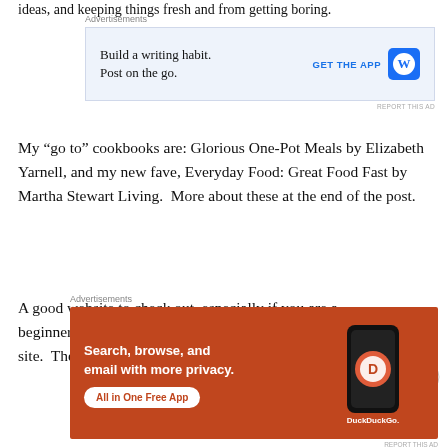ideas, and keeping things fresh and from getting boring.
[Figure (screenshot): Advertisement banner for WordPress app: 'Build a writing habit. Post on the go.' with GET THE APP button and WordPress logo]
My “go to” cookbooks are: Glorious One-Pot Meals by Elizabeth Yarnell, and my new fave, Everyday Food: Great Food Fast by Martha Stewart Living.  More about these at the end of the post.
A good website to check out, especially if you are a beginner at the menu planning is Woman’s Day Magazine’s site.  They provide a Month of Menus each
[Figure (screenshot): Advertisement banner for DuckDuckGo app: 'Search, browse, and email with more privacy. All in One Free App' with DuckDuckGo phone graphic]